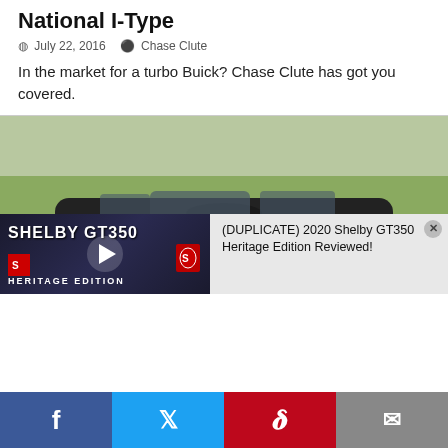National I-Type
July 22, 2016   Chase Clute
In the market for a turbo Buick? Chase Clute has got you covered.
[Figure (photo): Dark grey/black sedan (Subaru Legacy GT) parked on a road with green grass in background]
[Figure (screenshot): Video overlay showing Shelby GT350 Heritage Edition thumbnail with play button, and info panel showing title: (DUPLICATE) 2020 Shelby GT350 Heritage Edition Reviewed!]
Facebook | Twitter | Pinterest | Email share buttons